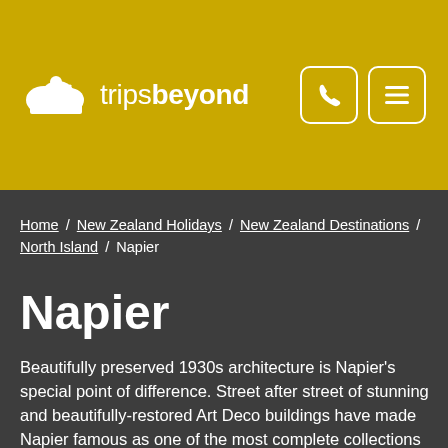trips beyond
Home / New Zealand Holidays / New Zealand Destinations / North Island / Napier
Napier
Beautifully preserved 1930s architecture is Napier's special point of difference. Street after street of stunning and beautifully-restored Art Deco buildings have made Napier famous as one of the most complete collections of Art Deco buildings in the world. In 1931 a massive earthquake rocked Hawke's Bay for more than three minutes, killing nearly 260 and destroying the commercial centre of Napier.